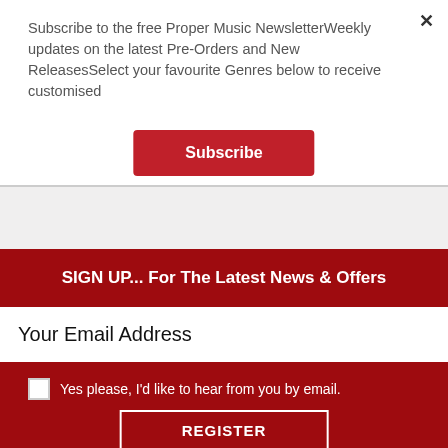Subscribe to the free Proper Music NewsletterWeekly updates on the latest Pre-Orders and New ReleasesSelect your favourite Genres below to receive customised
Subscribe
SIGN UP... For The Latest News & Offers
Your Email Address
Yes please, I'd like to hear from you by email.
REGISTER